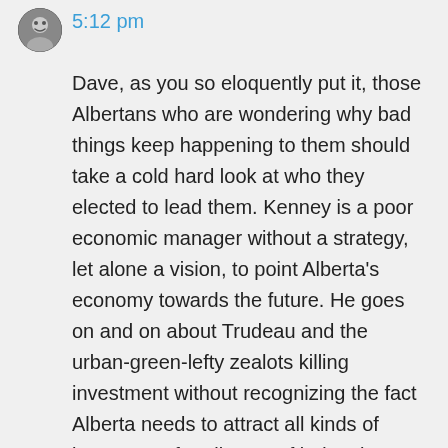[Figure (illustration): Circular avatar icon showing a stylized user profile image]
5:12 pm
Dave, as you so eloquently put it, those Albertans who are wondering why bad things keep happening to them should take a cold hard look at who they elected to lead them. Kenney is a poor economic manager without a strategy, let alone a vision, to point Alberta's economy towards the future. He goes on and on about Trudeau and the urban-green-lefty zealots killing investment without recognizing the fact Alberta needs to attract all kinds of investment for all sorts of industries. The sooner we find ways to promote and invest in other sectors the faster we can diversify our economy and get ourselves out of this interminable de